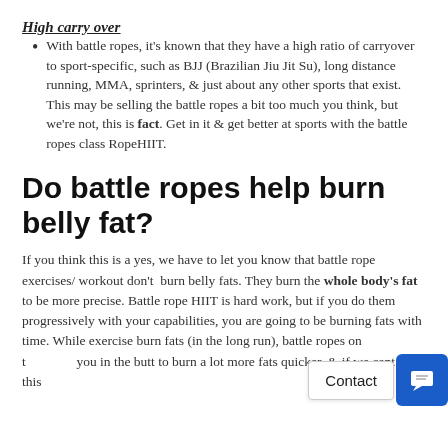High carry over
With battle ropes, it's known that they have a high ratio of carryover to sport-specific, such as BJJ (Brazilian Jiu Jit Su), long distance running, MMA, sprinters, & just about any other sports that exist. This may be selling the battle ropes a bit too much you think, but we're not, this is fact. Get in it & get better at sports with the battle ropes class RopeHIIT.
Do battle ropes help burn belly fat?
If you think this is a yes, we have to let you know that battle rope exercises/ workout don't burn belly fats. They burn the whole body's fat to be more precise. Battle rope HIIT is hard work, but if you do them progressively with your capabilities, you are going to be burning fats with time. While exercise [Contact widget obscures text] burn fats (in the long run), battle ropes on t[obscured]k you in the butt to burn a lot more fats quicker, & if we cant say this